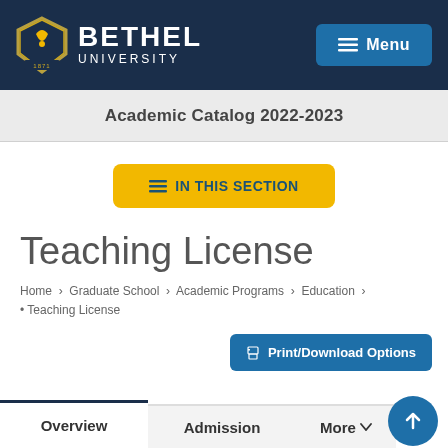Bethel University | Menu
Academic Catalog 2022-2023
≡ IN THIS SECTION
Teaching License
Home › Graduate School › Academic Programs › Education › • Teaching License
Print/Download Options
Overview | Admission | More